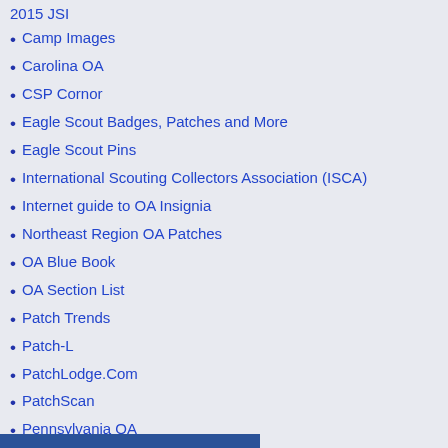2015 JSI
Camp Images
Carolina OA
CSP Cornor
Eagle Scout Badges, Patches and More
Eagle Scout Pins
International Scouting Collectors Association (ISCA)
Internet guide to OA Insignia
Northeast Region OA Patches
OA Blue Book
OA Section List
Patch Trends
Patch-L
PatchLodge.Com
PatchScan
Pennsylvania OA
Scout Patch Collector's Base Camp
Ten Mile River Scout Museum
The Eagle Scout Badge
Virginia Order of The Arrow
West Virginia and Ohio Conclaves
William Hillcourt Scout Museum